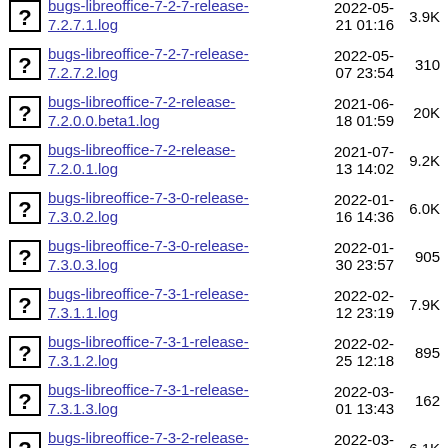bugs-libreoffice-7-2-7-release-7.2.7.1.log  2022-05-21 01:16  3.9K
bugs-libreoffice-7-2-7-release-7.2.7.2.log  2022-05-07 23:54  310
bugs-libreoffice-7-2-release-7.2.0.0.beta1.log  2021-06-18 01:59  20K
bugs-libreoffice-7-2-release-7.2.0.1.log  2021-07-13 14:02  9.2K
bugs-libreoffice-7-3-0-release-7.3.0.2.log  2022-01-16 14:36  6.0K
bugs-libreoffice-7-3-0-release-7.3.0.3.log  2022-01-30 23:57  905
bugs-libreoffice-7-3-1-release-7.3.1.1.log  2022-02-12 23:19  7.9K
bugs-libreoffice-7-3-1-release-7.3.1.2.log  2022-02-25 12:18  895
bugs-libreoffice-7-3-1-release-7.3.1.3.log  2022-03-01 13:43  162
bugs-libreoffice-7-3-2-release-7.3.2.1.log  2022-03-12 21:13  6.1K
bugs-libreoffice-7-3-2-release-7.3.2.2.log  2022-03-24 14:12  503
bugs-libreoffice-7-3-3-release-7.3.3.1.log  2022-04-14 14:07  7.1K